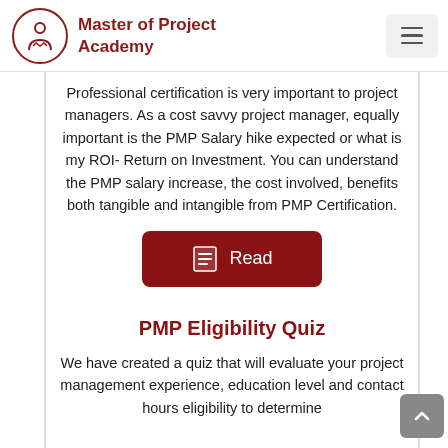Master of Project Academy
Professional certification is very important to project managers. As a cost savvy project manager, equally important is the PMP Salary hike expected or what is my ROI- Return on Investment. You can understand the PMP salary increase, the cost involved, benefits both tangible and intangible from PMP Certification.
[Figure (other): Dark red 'Read' button with document icon]
PMP Eligibility Quiz
We have created a quiz that will evaluate your project management experience, education level and contact hours eligibility to determine whether you are eligible to sit for PMP